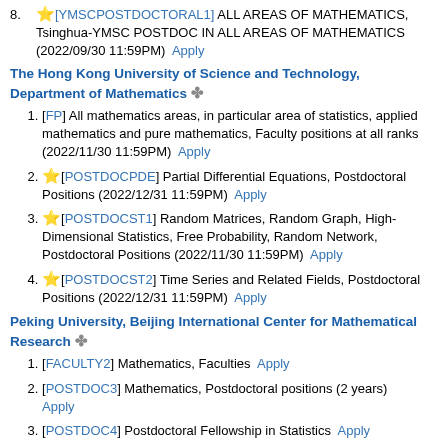8. [YMSCPOSTDOCTORAL1] ALL AREAS OF MATHEMATICS, Tsinghua-YMSC POSTDOC IN ALL AREAS OF MATHEMATICS (2022/09/30 11:59PM) Apply
The Hong Kong University of Science and Technology, Department of Mathematics
1. [FP] All mathematics areas, in particular area of statistics, applied mathematics and pure mathematics, Faculty positions at all ranks (2022/11/30 11:59PM) Apply
2. [POSTDOCPDE] Partial Differential Equations, Postdoctoral Positions (2022/12/31 11:59PM) Apply
3. [POSTDOCST1] Random Matrices, Random Graph, High-Dimensional Statistics, Free Probability, Random Network, Postdoctoral Positions (2022/11/30 11:59PM) Apply
4. [POSTDOCST2] Time Series and Related Fields, Postdoctoral Positions (2022/12/31 11:59PM) Apply
Peking University, Beijing International Center for Mathematical Research
1. [FACULTY2] Mathematics, Faculties Apply
2. [POSTDOC3] Mathematics, Postdoctoral positions (2 years) Apply
3. [POSTDOC4] Postdoctoral Fellowship in Statistics Apply